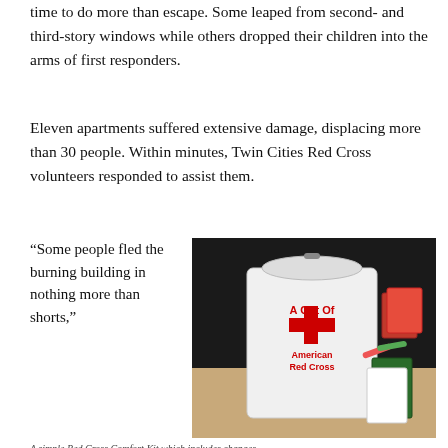time to do more than escape. Some leaped from second- and third-story windows while others dropped their children into the arms of first responders.
Eleven apartments suffered extensive damage, displacing more than 30 people. Within minutes, Twin Cities Red Cross volunteers responded to assist them.
“Some people fled the burning building in nothing more than shorts,”
[Figure (photo): Photo of an American Red Cross white gift bag with red cross logo and text 'A Gift Of American Red Cross', placed on a table alongside comfort kit items including booklets and crayons.]
A simple Red Cross Comfort Kit which includes changes...